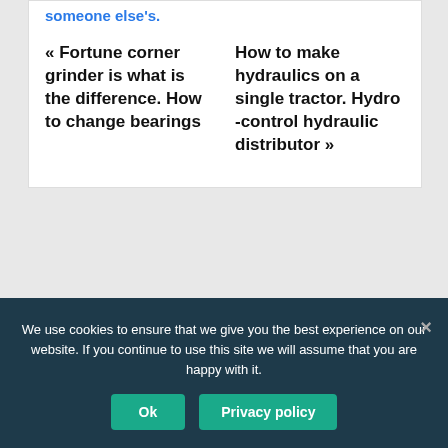someone else's.
« Fortune corner grinder is what is the difference. How to change bearings
How to make hydraulics on a single tractor. Hydro -control hydraulic distributor »
We use cookies to ensure that we give you the best experience on our website. If you continue to use this site we will assume that you are happy with it.
Ok
Privacy policy